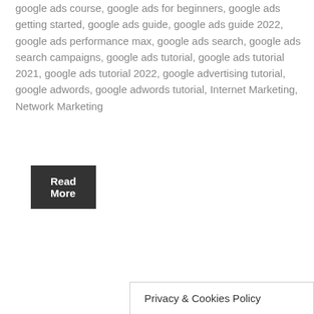google ads course, google ads for beginners, google ads getting started, google ads guide, google ads guide 2022, google ads performance max, google ads search, google ads search campaigns, google ads tutorial, google ads tutorial 2021, google ads tutorial 2022, google advertising tutorial, google adwords, google adwords tutorial, Internet Marketing, Network Marketing
Read More
Privacy & Cookies Policy